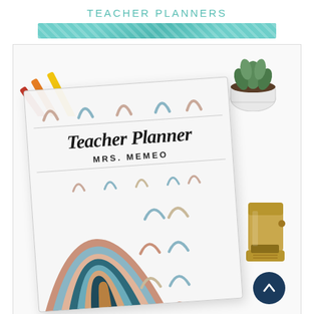TEACHER PLANNERS
[Figure (photo): Photograph of a teacher planner binder with rainbow pattern cover labeled 'Teacher Planner MRS. MEMEO', surrounded by colorful pens, a succulent plant, and a gold stapler on a white surface. A dark navy circular up-arrow button appears in the lower right corner.]